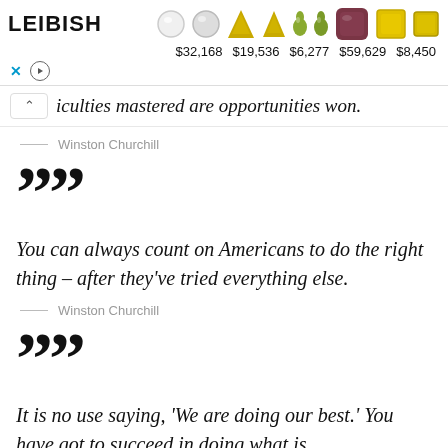[Figure (other): Leibish jewelry advertisement banner showing diamond gems with prices: $32,168, $19,536, $6,277, $59,629, $8,450]
iculties mastered are opportunities won.
— Winston Churchill
””
You can always count on Americans to do the right thing – after they’ve tried everything else.
— Winston Churchill
””
It is no use saying, ‘We are doing our best.’ You have got to succeed in doing what is